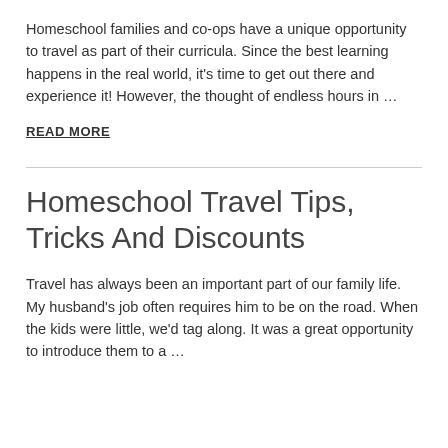Homeschool families and co-ops have a unique opportunity to travel as part of their curricula. Since the best learning happens in the real world, it's time to get out there and experience it! However, the thought of endless hours in …
READ MORE
Homeschool Travel Tips, Tricks And Discounts
Travel has always been an important part of our family life. My husband's job often requires him to be on the road. When the kids were little, we'd tag along. It was a great opportunity to introduce them to a …